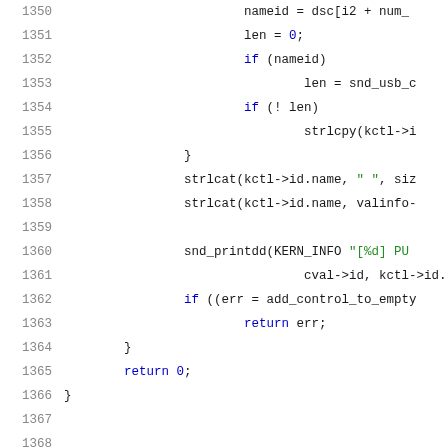Source code listing, lines 1350-1371, C kernel audio USB driver code